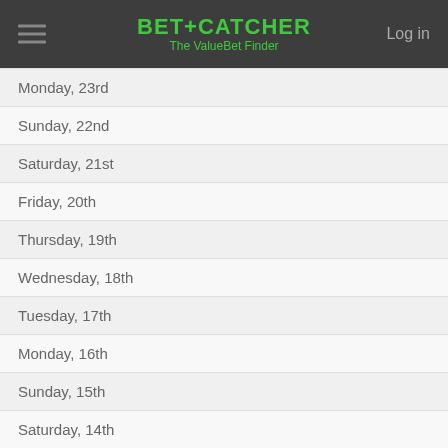BET+CATCHER The ValueBet Finder
Monday, 23rd
Sunday, 22nd
Saturday, 21st
Friday, 20th
Thursday, 19th
Wednesday, 18th
Tuesday, 17th
Monday, 16th
Sunday, 15th
Saturday, 14th
Friday, 13th
Thursday, 12th
Wednesday, 11th